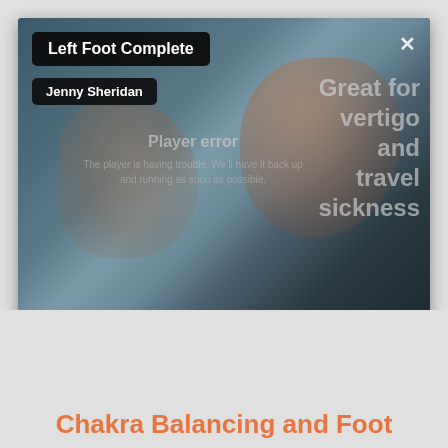[Figure (screenshot): A video player screenshot showing a blurred foot/hand massage scene with a player error message overlay. The player displays 'Player error' and 'The player is having trouble. We'll have it back up and running as soon as possible.' Overlaid text on the right reads 'Great for vertigo and travel sickness'.]
Left Foot Complete
Jenny Sheridan
Chakra Balancing and Foot